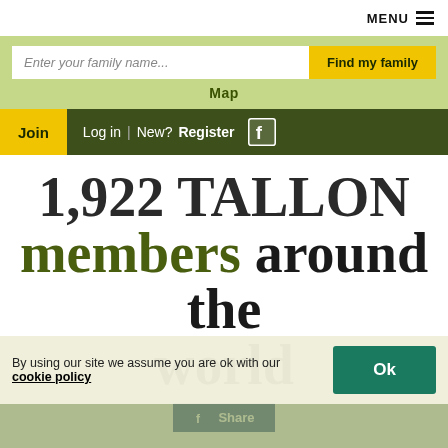MENU
Enter your family name...
Find my family
Map
Join  Log in  | New?  Register
1,922 TALLON members around the world
Share
By using our site we assume you are ok with our cookie policy
Ok